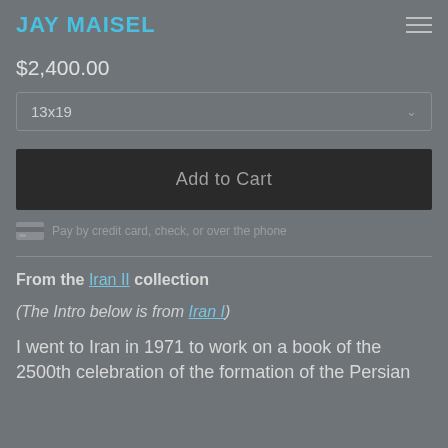JAY MAISEL
$2,400.00
13x19
Add to Cart
Pay by credit card, check, or over the phone
From the Iran II collection
(The Intro below is from Iran I)
I went to Iran in 1971 to work on a book of the 2500th celebration of the formation of the Persian